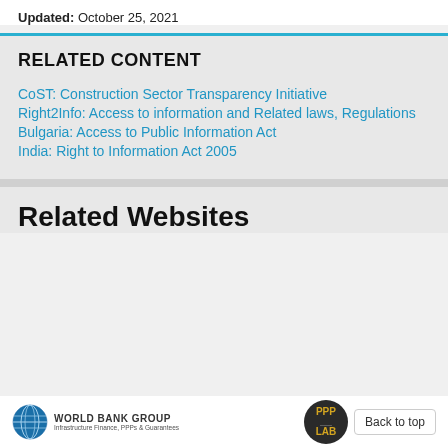Updated: October 25, 2021
RELATED CONTENT
CoST: Construction Sector Transparency Initiative
Right2Info: Access to information and Related laws, Regulations
Bulgaria: Access to Public Information Act
India: Right to Information Act 2005
Related Websites
[Figure (logo): World Bank Group logo - Infrastructure Finance, PPPs & Guarantees]
[Figure (logo): PPP LAB circular logo in dark background with gold text]
Back to top